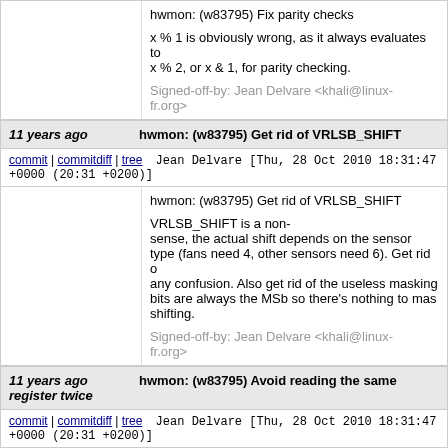hwmon: (w83795) Fix parity checks

x % 1 is obviously wrong, as it always evaluates to x % 2, or x & 1, for parity checking.

Signed-off-by: Jean Delvare <khali@linux-fr.org>
11 years ago    hwmon: (w83795) Get rid of VRLSB_SHIFT
commit | commitdiff | tree    Jean Delvare [Thu, 28 Oct 2010 18:31:47 +0000 (20:31 +0200)]
hwmon: (w83795) Get rid of VRLSB_SHIFT

VRLSB_SHIFT is a non-sense, the actual shift depends on the sensor type (fans need 4, other sensors need 6). Get rid of any confusion. Also get rid of the useless masking bits are always the MSb so there's nothing to mask before shifting.

Signed-off-by: Jean Delvare <khali@linux-fr.org>
11 years ago    hwmon: (w83795) Avoid reading the same register twice
commit | commitdiff | tree    Jean Delvare [Thu, 28 Oct 2010 18:31:47 +0000 (20:31 +0200)]